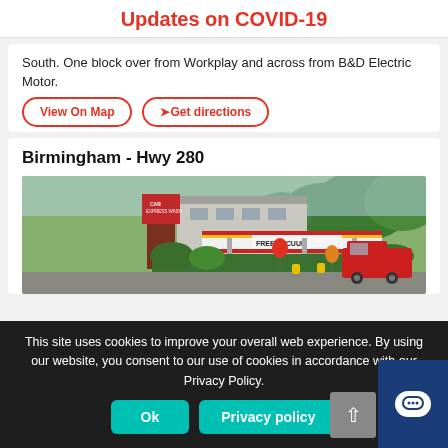Updates on COVID-19
South. One block over from Workplay and across from B&D Electric Motor.
View On Map
➤Get directions
Birmingham - Hwy 280
[Figure (photo): Exterior photo of a car wash facility with a 'FREE VACUUM' canopy, decorative balloons, bushes, and a red truck parked on the right. Trees visible in background.]
This site uses cookies to improve your overall web experience. By using our website, you consent to our use of cookies in accordance with our Privacy Policy.
Ok
Privacy policy